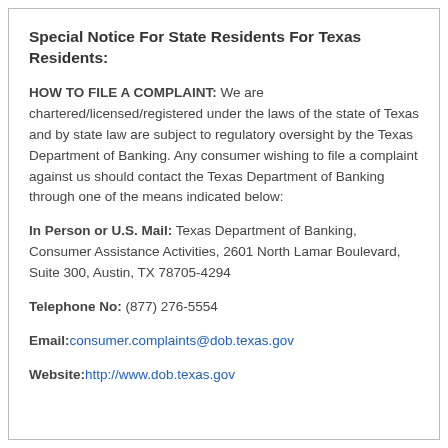Special Notice For State Residents For Texas Residents:
HOW TO FILE A COMPLAINT: We are chartered/licensed/registered under the laws of the state of Texas and by state law are subject to regulatory oversight by the Texas Department of Banking. Any consumer wishing to file a complaint against us should contact the Texas Department of Banking through one of the means indicated below:
In Person or U.S. Mail: Texas Department of Banking, Consumer Assistance Activities, 2601 North Lamar Boulevard, Suite 300, Austin, TX 78705-4294
Telephone No: (877) 276-5554
Email:consumer.complaints@dob.texas.gov
Website:http://www.dob.texas.gov